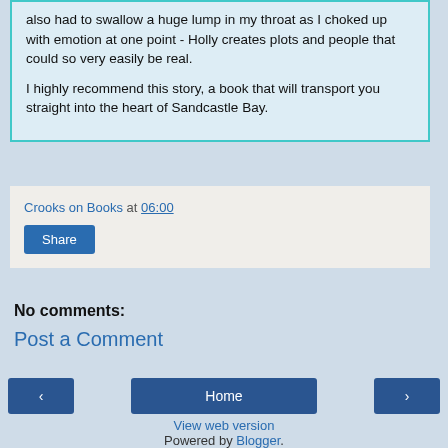also had to swallow a huge lump in my throat as I choked up with emotion at one point - Holly creates plots and people that could so very easily be real.

I highly recommend this story, a book that will transport you straight into the heart of Sandcastle Bay.
Crooks on Books at 06:00
Share
No comments:
Post a Comment
‹
Home
›
View web version
Powered by Blogger.